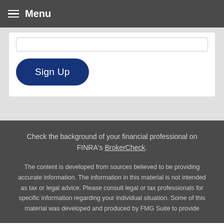Menu
Sign Up
Check the background of your financial professional on FINRA's BrokerCheck.
The content is developed from sources believed to be providing accurate information. The information in this material is not intended as tax or legal advice. Please consult legal or tax professionals for specific information regarding your individual situation. Some of this material was developed and produced by FMG Suite to provide